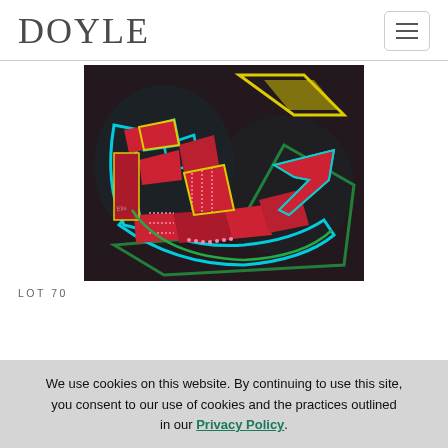DOYLE
[Figure (photo): Colorful graffiti-style artwork featuring bold red, yellow, cyan, and green lettering on a dark background, showing stylized text/tag art.]
LOT 70
We use cookies on this website. By continuing to use this site, you consent to our use of cookies and the practices outlined in our Privacy Policy.